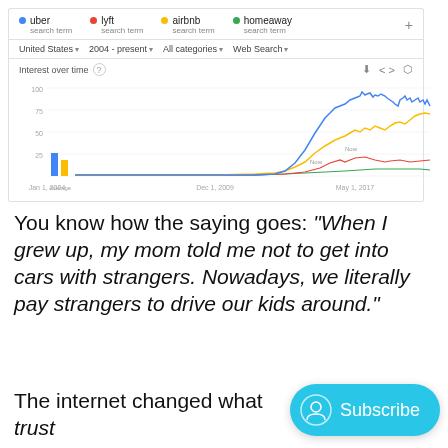[Figure (line-chart): Google Trends line chart showing interest over time for uber, lyft, airbnb, homeaway from 2004 to present. Uber (blue) rises highest, airbnb (yellow) second, lyft (red) third, homeaway (green) stays near zero.]
You know how the saying goes: “When I grew up, my mom told me not to get into cars with strangers. Nowadays, we literally pay strangers to drive our kids around.”
The internet changed what trust